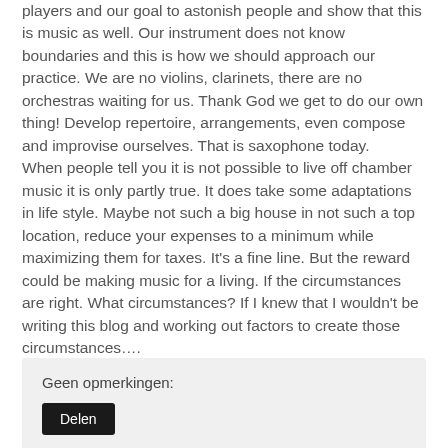players and our goal to astonish people and show that this is music as well. Our instrument does not know boundaries and this is how we should approach our practice. We are no violins, clarinets, there are no orchestras waiting for us. Thank God we get to do our own thing! Develop repertoire, arrangements, even compose and improvise ourselves. That is saxophone today.
When people tell you it is not possible to live off chamber music it is only partly true. It does take some adaptations in life style. Maybe not such a big house in not such a top location, reduce your expenses to a minimum while maximizing them for taxes. It's a fine line. But the reward could be making music for a living. If the circumstances are right. What circumstances? If I knew that I wouldn't be writing this blog and working out factors to create those circumstances….
Geen opmerkingen:
Delen